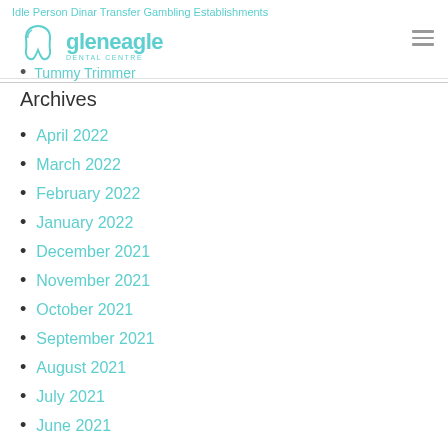Idle Person Dinar Transfer Gambling Establishments
[Figure (logo): Gleneagle Dental Centre logo with tooth icon]
Tummy Trimmer
Archives
April 2022
March 2022
February 2022
January 2022
December 2021
November 2021
October 2021
September 2021
August 2021
July 2021
June 2021
May 2021
April 2021